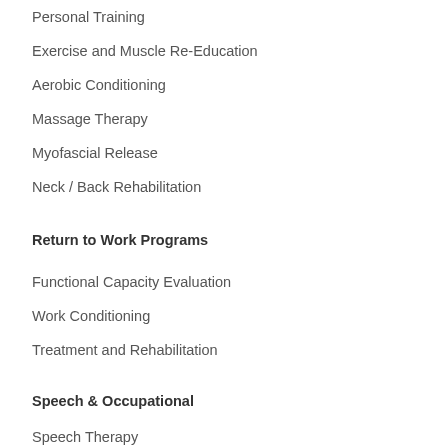Personal Training
Exercise and Muscle Re-Education
Aerobic Conditioning
Massage Therapy
Myofascial Release
Neck / Back Rehabilitation
Return to Work Programs
Functional Capacity Evaluation
Work Conditioning
Treatment and Rehabilitation
Speech & Occupational
Speech Therapy